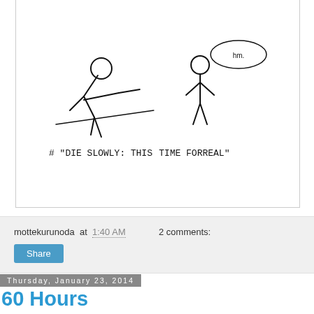[Figure (illustration): Hand-drawn comic/sketch showing figures, with handwritten text reading: # "DIE SLOWLY: THIS TIME FORREAL"]
mottekurunoda at 1:40 AM   2 comments:
Share
Thursday, January 23, 2014
60 Hours
Ever since we started watching this show, what little social life I had has all but perished. And I promise I'll shut up about The Wire ... as soon as we're done with all five seasons.